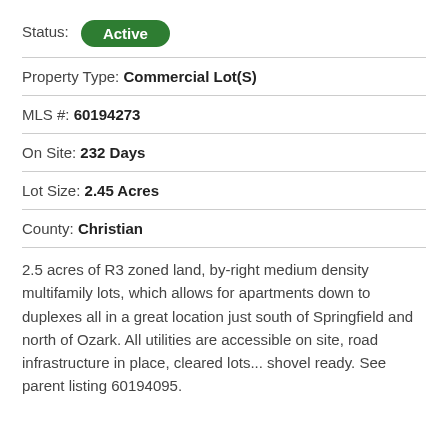Status: Active
Property Type: Commercial Lot(S)
MLS #: 60194273
On Site: 232 Days
Lot Size: 2.45 Acres
County: Christian
2.5 acres of R3 zoned land, by-right medium density multifamily lots, which allows for apartments down to duplexes all in a great location just south of Springfield and north of Ozark. All utilities are accessible on site, road infrastructure in place, cleared lots... shovel ready. See parent listing 60194095.